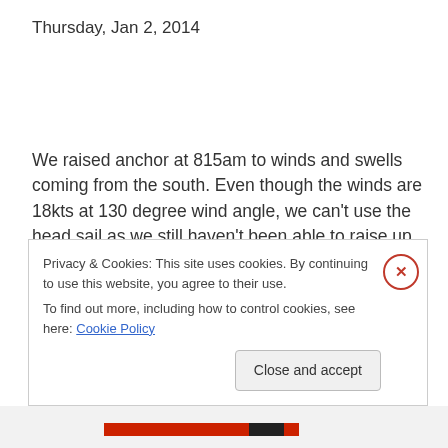Thursday, Jan 2, 2014
We raised anchor at 815am to winds and swells coming from the south. Even though the winds are 18kts at 130 degree wind angle, we can't use the head sail as we still haven't been able to raise up the head sail so instead are motoring. By 9am, we have turned to the stone marker towards Pipe Creek with the wind on the beam and waves
Privacy & Cookies: This site uses cookies. By continuing to use this website, you agree to their use.
To find out more, including how to control cookies, see here: Cookie Policy
Close and accept